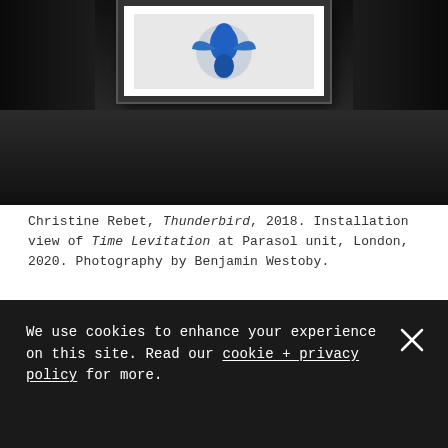[Figure (photo): Installation view of a dark gallery room with a framed artwork on the far wall showing a blue figure. Dark side walls converge in perspective. Dark floor visible in foreground.]
Christine Rebet, Thunderbird, 2018. Installation view of Time Levitation at Parasol unit, London, 2020. Photography by Benjamin Westoby.
We use cookies to enhance your experience on this site. Read our cookie + privacy policy for more.